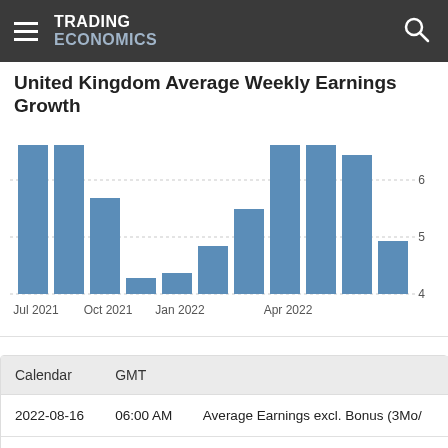TRADING ECONOMICS
United Kingdom Average Weekly Earnings Growth
[Figure (bar-chart): United Kingdom Average Weekly Earnings Growth]
| Calendar | GMT |  |
| --- | --- | --- |
| 2022-08-16 | 06:00 AM | Average Earnings excl. Bonus (3Mo/... |
| 2022-08-16 | 06:00 AM | Average Earnings incl. Bonus (3Mo/Y... |
| 2022-09-13 | 06:00 AM | Average Earnings incl. Bonus (3Mo/Y... |